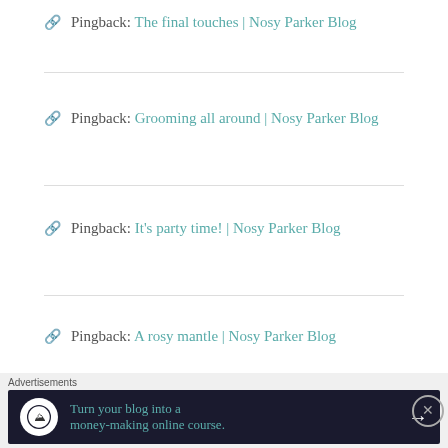Pingback: The final touches | Nosy Parker Blog
Pingback: Grooming all around | Nosy Parker Blog
Pingback: It’s party time! | Nosy Parker Blog
Pingback: A rosy mantle | Nosy Parker Blog
Pingback: Climbing the arch | Nosy Parker Blog
Advertisements
[Figure (infographic): Advertisement banner: dark background with tree/person icon, teal text 'Turn your blog into a money-making online course.' with white arrow]